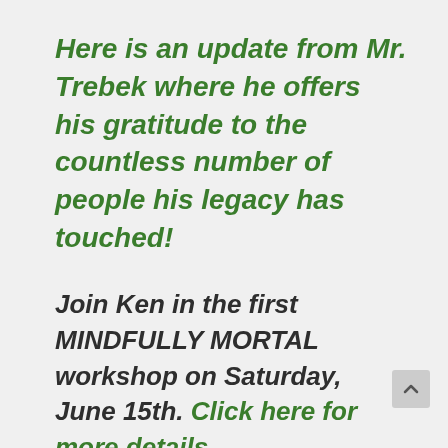Here is an update from Mr. Trebek where he offers his gratitude to the countless number of people his legacy has touched!
Join Ken in the first MINDFULLY MORTAL workshop on Saturday, June 15th.  Click here for more details.